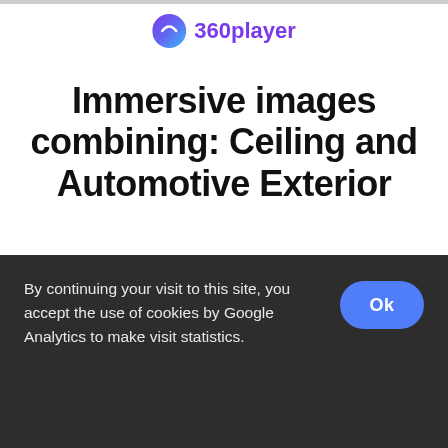360player
Immersive images combining: Ceiling and Automotive Exterior
[Figure (photo): Interior car ceiling view showing the overhead panel, dark padded corners on left and right, grey fabric ceiling, with a small light or sensor visible near the center-top]
By continuing your visit to this site, you accept the use of cookies by Google Analytics to make visit statistics.